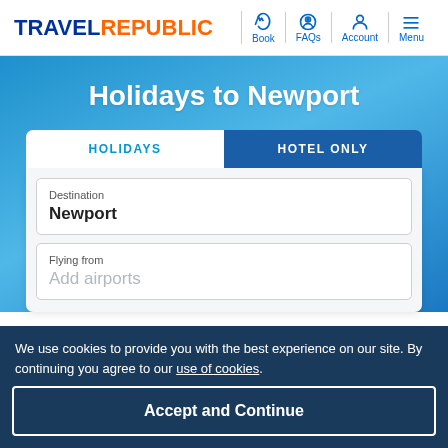TRAVEL REPUBLIC — Navigation: Book, FAQs, Account, Menu
Holidays to Newport
HOLIDAYS | HOTEL ONLY
Destination: Newport
Flying from: Add airports
We use cookies to provide you with the best experience on our site. By continuing you agree to our use of cookies.
Accept and Continue